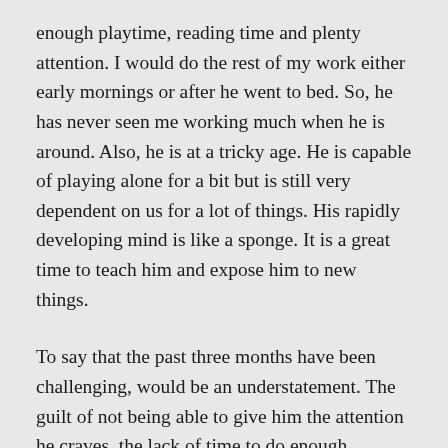enough playtime, reading time and plenty attention. I would do the rest of my work either early mornings or after he went to bed. So, he has never seen me working much when he is around. Also, he is at a tricky age. He is capable of playing alone for a bit but is still very dependent on us for a lot of things. His rapidly developing mind is like a sponge. It is a great time to teach him and expose him to new things.
To say that the past three months have been challenging, would be an understatement. The guilt of not being able to give him the attention he craves, the lack of time to do enough constructive activities together and the excessive screen time has been at an all-time high. On one hand, we're grateful that our work hasn't been affected by the pandemic, but on the